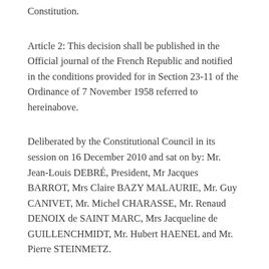Constitution.
Article 2: This decision shall be published in the Official journal of the French Republic and notified in the conditions provided for in Section 23-11 of the Ordinance of 7 November 1958 referred to hereinabove.
Deliberated by the Constitutional Council in its session on 16 December 2010 and sat on by: Mr. Jean-Louis DEBRÉ, President, Mr Jacques BARROT, Mrs Claire BAZY MALAURIE, Mr. Guy CANIVET, Mr. Michel CHARASSE, Mr. Renaud DENOIX de SAINT MARC, Mrs Jacqueline de GUILLENCHMIDT, Mr. Hubert HAENEL and Mr. Pierre STEINMETZ.
Announced on 17 December 2010.
Official Journal of 19 December 2010, p 22374 (@ 50)